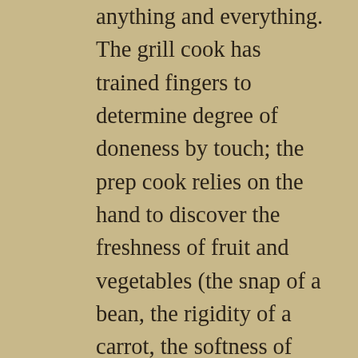throughout the day to assess anything and everything. The grill cook has trained fingers to determine degree of doneness by touch; the prep cook relies on the hand to discover the freshness of fruit and vegetables (the snap of a bean, the rigidity of a carrot, the softness of zucchini, or the exterior feel of stone fruit and avocado). The baker relies on his or her hands to test the strength of flour and to determine when bread is adequately proofed. It is the touch of the pastry bag that allows a pastry chef to...